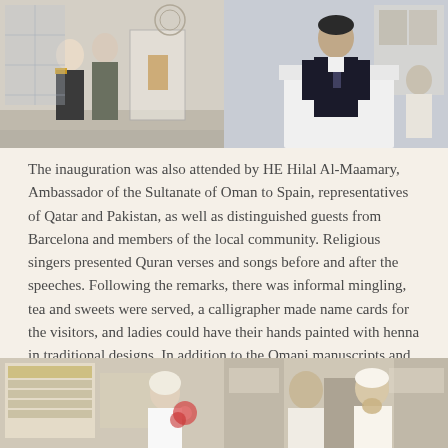[Figure (photo): Two photos side by side at top: left photo shows two people standing in a museum/exhibition hall with display cases; right photo shows a man in a dark suit speaking at a podium with audience behind him.]
The inauguration was also attended by HE Hilal Al-Maamary, Ambassador of the Sultanate of Oman to Spain, representatives of Qatar and Pakistan, as well as distinguished guests from Barcelona and members of the local community. Religious singers presented Quran verses and songs before and after the speeches. Following the remarks, there was informal mingling, tea and sweets were served, a calligrapher made name cards for the visitors, and ladies could have their hands painted with henna in traditional designs. In addition to the Omani manuscripts and religious artifacts, handicrafts from Morocco, Algeria and Tunisia were also on display.
[Figure (photo): Two photos side by side at bottom: left photo shows a person in white traditional attire at an exhibition; right photo shows two men standing together, one in white traditional Islamic attire with beard.]